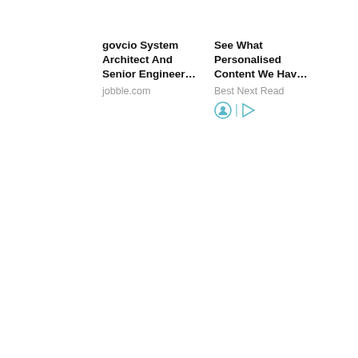govcio System Architect And Senior Engineer…
jobble.com
See What Personalised Content We Hav…
Best Next Read